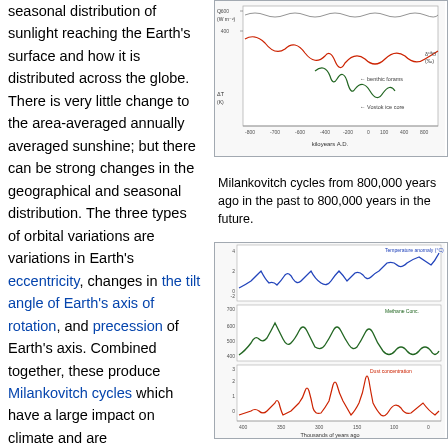seasonal distribution of sunlight reaching the Earth's surface and how it is distributed across the globe. There is very little change to the area-averaged annually averaged sunshine; but there can be strong changes in the geographical and seasonal distribution. The three types of orbital variations are variations in Earth's eccentricity, changes in the tilt angle of Earth's axis of rotation, and precession of Earth's axis. Combined together, these produce Milankovitch cycles which have a large impact on climate and are
[Figure (continuous-plot): Milankovitch cycles chart showing data from 800,000 years ago in the past to 800,000 years in the future, with multiple colored waveform lines including red and green on white background with axis labels in kiloyears A.D.]
Milankovitch cycles from 800,000 years ago in the past to 800,000 years in the future.
[Figure (continuous-plot): Three-panel time series chart showing variations in CO2 (blue, top panel), temperature (green, middle panel), and dust (red, bottom panel) from the Vostok ice core over the last 450,000 years. X-axis labeled 'Thousands of years ago'.]
Variations in CO2, temperature and dust from the Vostok ice core over the last 450,000 years